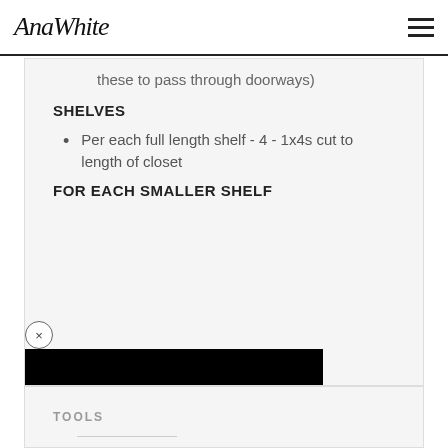AnaWhite
these to pass through doorways)
SHELVES
Per each full length shelf - 4 - 1x4s cut to length of closet
FOR EACH SMALLER SHELF
shelf
TOOLS